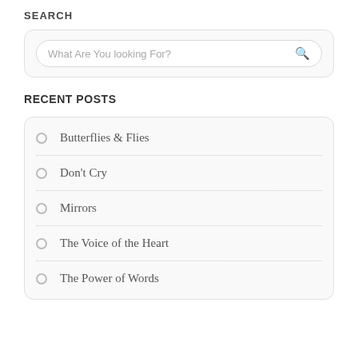SEARCH
What Are You looking For?
RECENT POSTS
Butterflies & Flies
Don't Cry
Mirrors
The Voice of the Heart
The Power of Words